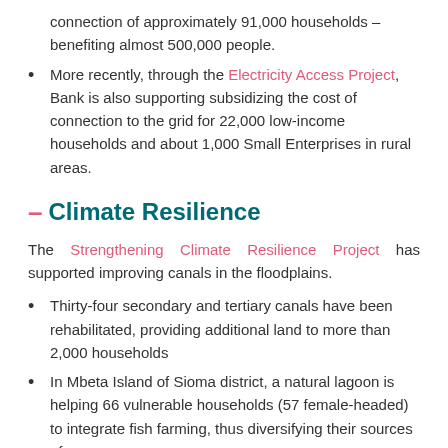connection of approximately 91,000 households – benefiting almost 500,000 people.
More recently, through the Electricity Access Project, Bank is also supporting subsidizing the cost of connection to the grid for 22,000 low-income households and about 1,000 Small Enterprises in rural areas.
– Climate Resilience
The Strengthening Climate Resilience Project has supported improving canals in the floodplains.
Thirty-four secondary and tertiary canals have been rehabilitated, providing additional land to more than 2,000 households
In Mbeta Island of Sioma district, a natural lagoon is helping 66 vulnerable households (57 female-headed) to integrate fish farming, thus diversifying their sources of